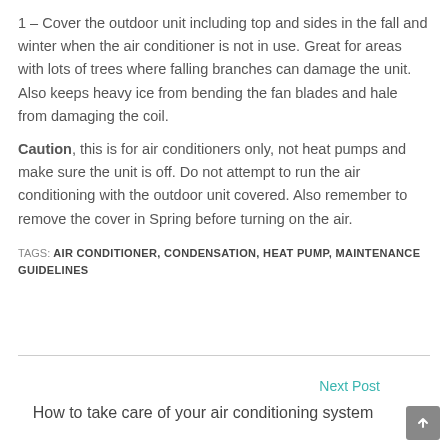1 – Cover the outdoor unit including top and sides in the fall and winter when the air conditioner is not in use. Great for areas with lots of trees where falling branches can damage the unit. Also keeps heavy ice from bending the fan blades and hale from damaging the coil.
Caution, this is for air conditioners only, not heat pumps and make sure the unit is off. Do not attempt to run the air conditioning with the outdoor unit covered. Also remember to remove the cover in Spring before turning on the air.
TAGS: AIR CONDITIONER, CONDENSATION, HEAT PUMP, MAINTENANCE GUIDELINES
Next Post →
How to take care of your air conditioning system